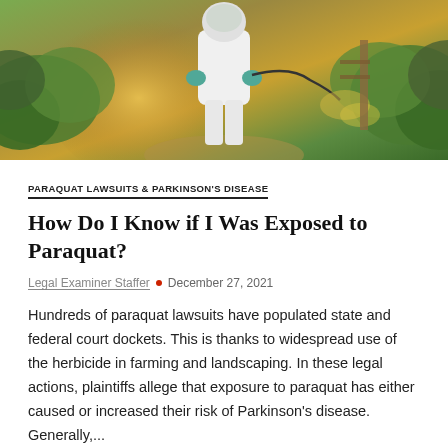[Figure (photo): Person in white protective suit spraying herbicide in a crop field, with golden sunlight in background and green plants on both sides]
PARAQUAT LAWSUITS & PARKINSON'S DISEASE
How Do I Know if I Was Exposed to Paraquat?
Legal Examiner Staffer • December 27, 2021
Hundreds of paraquat lawsuits have populated state and federal court dockets. This is thanks to widespread use of the herbicide in farming and landscaping. In these legal actions, plaintiffs allege that exposure to paraquat has either caused or increased their risk of Parkinson's disease. Generally,...